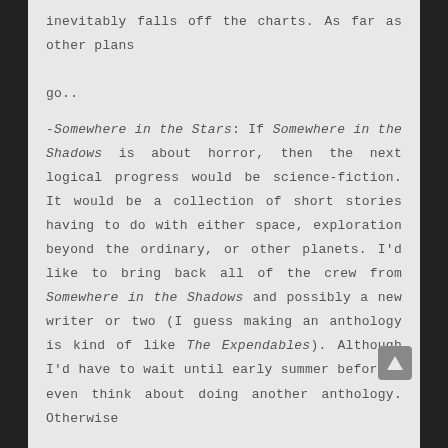inevitably falls off the charts. As far as other plans go..
-Somewhere in the Stars: If Somewhere in the Shadows is about horror, then the next logical progress would be science-fiction. It would be a collection of short stories having to do with either space, exploration beyond the ordinary, or other planets. I'd like to bring back all of the crew from Somewhere in the Shadows and possibly a new writer or two (I guess making an anthology is kind of like The Expendables). Although I'd have to wait until early summer before I even think about doing another anthology. Otherwise